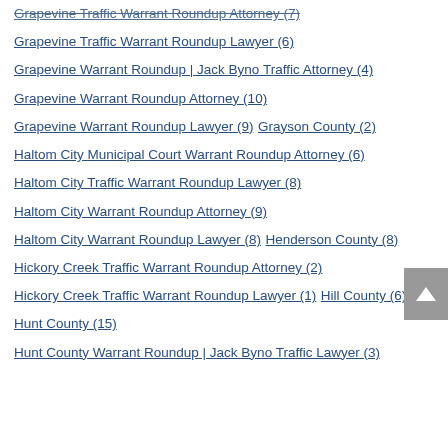Grapevine Traffic Warrant Roundup Attorney (7)
Grapevine Traffic Warrant Roundup Lawyer (6)
Grapevine Warrant Roundup | Jack Byno Traffic Attorney (4)
Grapevine Warrant Roundup Attorney (10)
Grapevine Warrant Roundup Lawyer (9)
Grayson County (2)
Haltom City Municipal Court Warrant Roundup Attorney (6)
Haltom City Traffic Warrant Roundup Lawyer (8)
Haltom City Warrant Roundup Attorney (9)
Haltom City Warrant Roundup Lawyer (8)
Henderson County (8)
Hickory Creek Traffic Warrant Roundup Attorney (2)
Hickory Creek Traffic Warrant Roundup Lawyer (1)
Hill County (6)
Hunt County (15)
Hunt County Warrant Roundup | Jack Byno Traffic Lawyer (3)